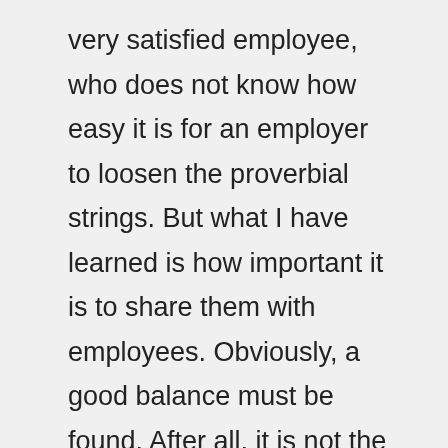very satisfied employee, who does not know how easy it is for an employer to loosen the proverbial strings. But what I have learned is how important it is to share them with employees. Obviously, a good balance must be found. After all, it is not the intention that employees take over the work of managers, but rather to get them and keep them involved in the organization. The secret to all this lies in three concepts: expectation management, communication and trust.